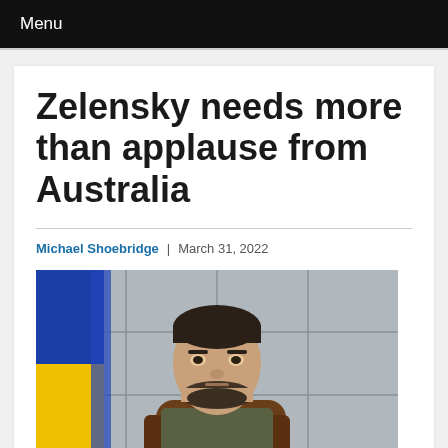Menu
Zelensky needs more than applause from Australia
Michael Shoebridge | March 31, 2022
[Figure (photo): Photo of Volodymyr Zelensky seated in a chair, wearing an olive/military-style shirt, with a blue and yellow Ukrainian flag visible on the left side and a paneled wall in the background.]